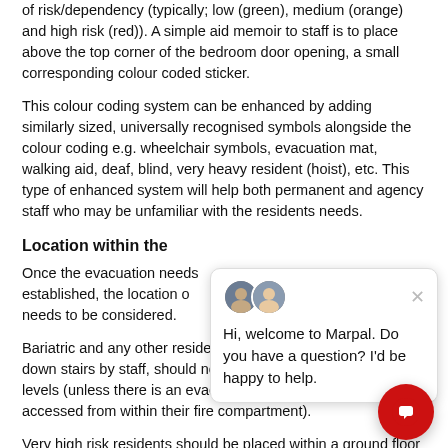of risk/dependency (typically; low (green), medium (orange) and high risk (red)). A simple aid memoir to staff is to place above the top corner of the bedroom door opening, a small corresponding colour coded sticker.
This colour coding system can be enhanced by adding similarly sized, universally recognised symbols alongside the colour coding e.g. wheelchair symbols, evacuation mat, walking aid, deaf, blind, very heavy resident (hoist), etc. This type of enhanced system will help both permanent and agency staff who may be unfamiliar with the residents needs.
Location within the
Once the evacuation needs established, the location o needs to be considered.
Bariatric and any other residents who could not be carried down stairs by staff, should not be placed on upper floor levels (unless there is an evacuation lift that can be accessed from within their fire compartment).
Very high risk residents should be placed within a ground floor